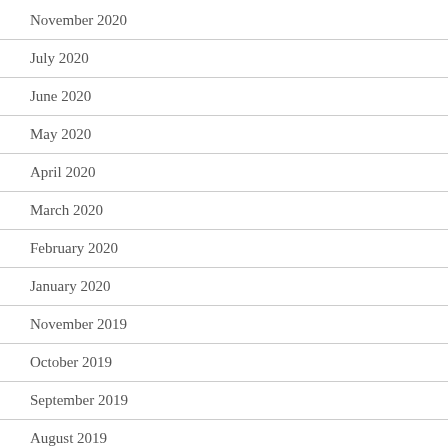November 2020
July 2020
June 2020
May 2020
April 2020
March 2020
February 2020
January 2020
November 2019
October 2019
September 2019
August 2019
July 2019